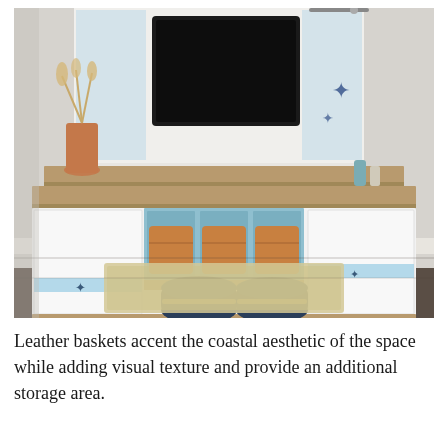[Figure (photo): Interior room photo showing a white coastal-style built-in media console with a wood top, three open cubbies with orange/tan leather baskets, two cabinet doors with starfish handles and light blue accent strips, a floating shelf above with a terracotta vase holding dried grasses, a wall-mounted flat-screen TV flanked by decorative panels with starfish artwork, two navy blue cylindrical ottomans with rope ties tucked under the console, decorative glass bottles on the console top, and a natural fiber area rug on a dark wood floor. The walls are light gray.]
Leather baskets accent the coastal aesthetic of the space while adding visual texture and provide an additional storage area.